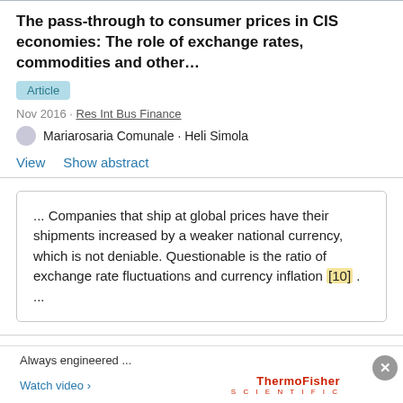The pass-through to consumer prices in CIS economies: The role of exchange rates, commodities and other...
Article
Nov 2016 · Res Int Bus Finance
Mariarosaria Comunale · Heli Simola
View   Show abstract
... Companies that ship at global prices have their shipments increased by a weaker national currency, which is not deniable. Questionable is the ratio of exchange rate fluctuations and currency inflation [10] . ...
How Production Factors Affect Sustainable Development in a Region
Article   Full-text available
Advertisement Always engineered ... Watch video ›